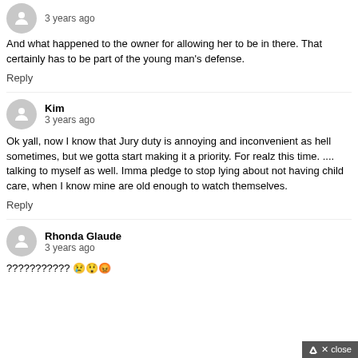3 years ago
And what happened to the owner for allowing her to be in there. That certainly has to be part of the young man's defense.
Reply
Kim
3 years ago
Ok yall, now I know that Jury duty is annoying and inconvenient as hell sometimes, but we gotta start making it a priority. For realz this time. .... talking to myself as well. Imma pledge to stop lying about not having child care, when I know mine are old enough to watch themselves.
Reply
Rhonda Glaude
3 years ago
??????????? 😢😲😡